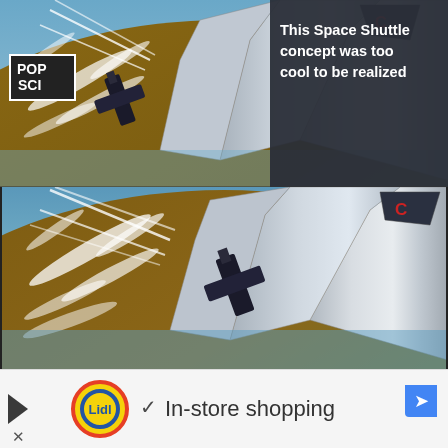[Figure (screenshot): Screenshot of a website article. Top portion shows a space shuttle concept artwork (futuristic spacecraft over Earth) with a dark overlay panel containing text 'This Space Shuttle concept was too cool to be realized' and navigation UI elements including POP SCI logo, X close button, dots menu, and a black circle arrow button. Below that is a larger version of the same space shuttle concept artwork showing a sleek metallic spacecraft over Earth's surface with white streaks.]
[Figure (screenshot): Advertisement banner at the bottom: Lidl logo with checkmark and text 'In-store shopping', a Google Maps-style navigation icon on the right, and a play button and X on the left.]